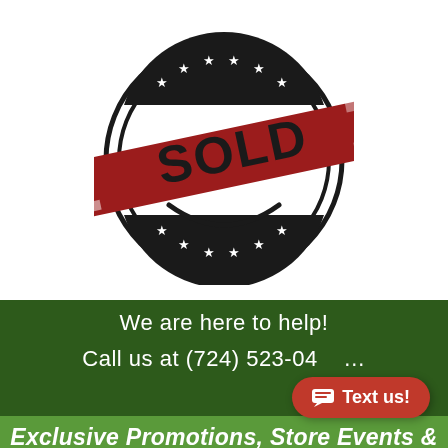[Figure (illustration): A circular stamp graphic with stars and double ring border in dark/black ink, overlaid with a red banner ribbon reading 'SOLD' in large bold letters, with distressed/grunge texture effect.]
We are here to help!
Call us at (724) 523-0405
Exclusive Promotions, Store Events &
Text us!